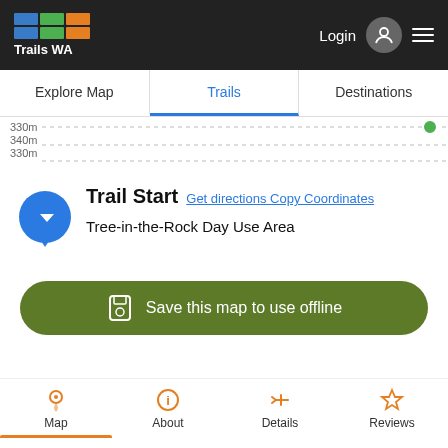Trails WA — Login
Explore Map | Trails | Destinations
330m
340m
Trail Start Get directions Copy Coordinates
Tree-in-the-Rock Day Use Area
Save this map to use offline
Map | About | Details | Reviews